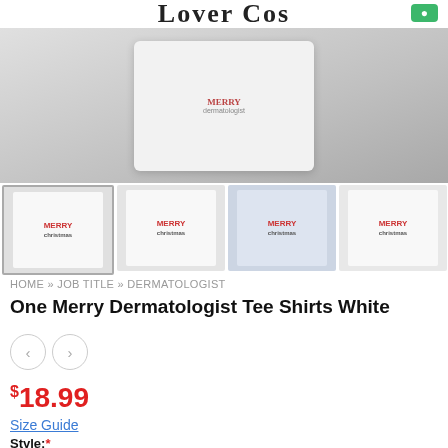Lover Cos
[Figure (photo): Main product image showing white t-shirt being worn, with Christmas-themed 'Merry' graphic design featuring a woman with messy bun and glasses]
[Figure (photo): Four thumbnail images of white t-shirt with Christmas 'Merry Dermatologist' graphic design from various angles and backgrounds]
HOME » JOB TITLE » DERMATOLOGIST
One Merry Dermatologist Tee Shirts White
$18.99
Size Guide
Style:*